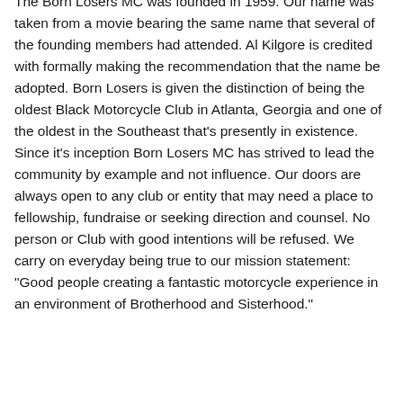The Born Losers MC was founded in 1959. Our name was taken from a movie bearing the same name that several of the founding members had attended. Al Kilgore is credited with formally making the recommendation that the name be adopted. Born Losers is given the distinction of being the oldest Black Motorcycle Club in Atlanta, Georgia and one of the oldest in the Southeast that's presently in existence. Since it's inception Born Losers MC has strived to lead the community by example and not influence. Our doors are always open to any club or entity that may need a place to fellowship, fundraise or seeking direction and counsel. No person or Club with good intentions will be refused. We carry on everyday being true to our mission statement: "Good people creating a fantastic motorcycle experience in an environment of Brotherhood and Sisterhood."